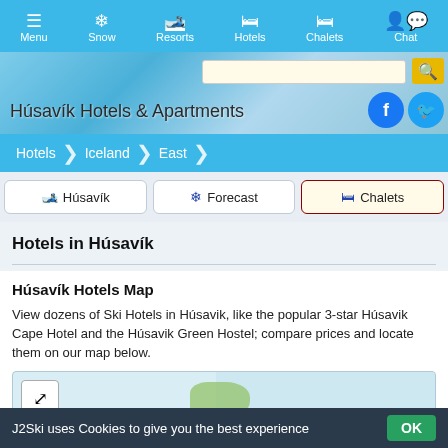Menu | Snow | Resorts | Hotels | Chalets | Chat
Húsavík Hotels & Apartments
Hotels > Iceland > East
🎿 Húsavík   ❄ Forecast   🛏 Chalets
Hotels in Húsavík
Húsavík Hotels Map
View dozens of Ski Hotels in Húsavik, like the popular 3-star Húsavik Cape Hotel and the Húsavik Green Hostel; compare prices and locate them on our map below.
[Figure (map): Partial map preview of Húsavík area with expand icon]
J2Ski uses Cookies to give you the best experience  OK